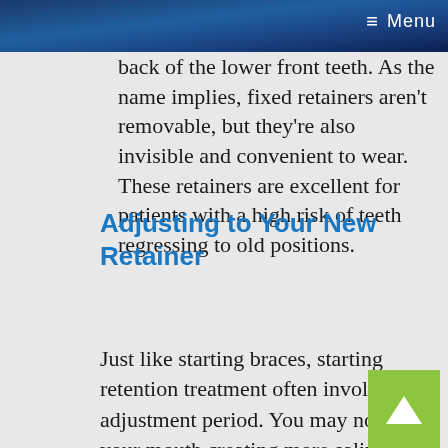≡ Menu
back of the lower front teeth. As the name implies, fixed retainers aren't removable, but they're also invisible and convenient to wear. These retainers are excellent for patients with a high risk of teeth regressing to old positions.
Adjusting to Your New Retainer
Just like starting braces, starting retention treatment often involves an adjustment period. You may notice your mouth creating more saliva for the first day or two, and you may notice a change in your speech – however, both of these will disappear with a little time. At first, you'll likely need to wear your retainer 24/7, but eventually we'll give